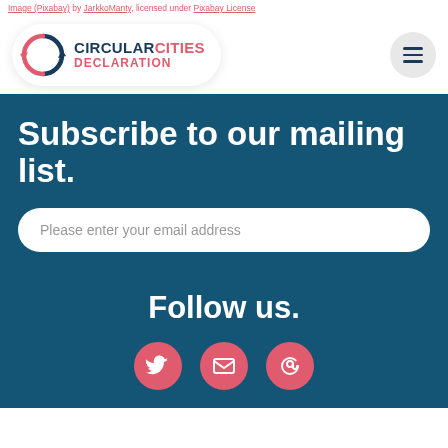Image (Pixabay) by JarkkoManty, licensed under Pixabay License
[Figure (logo): Circular Cities Declaration logo with circular arrow icon in dark blue and pink, and hamburger menu button]
Subscribe to our mailing list.
Please enter your email address
Follow us.
[Figure (infographic): Three pink circular social media icons: Twitter bird, envelope/mail, and @ symbol]